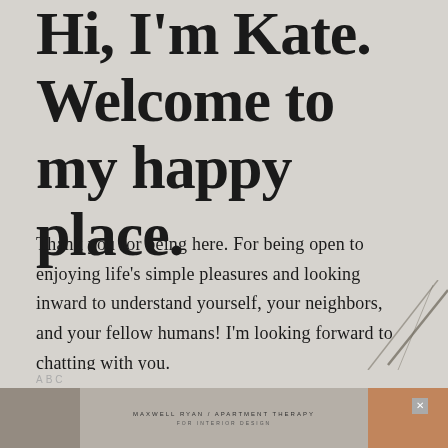Hi, I'm Kate. Welcome to my happy place.
Thank you for being here. For being open to enjoying life's simple pleasures and looking inward to understand yourself, your neighbors, and your fellow humans! I'm looking forward to chatting with you.
[Figure (illustration): Decorative diagonal lines in dark grey/brown at lower right of page]
[Figure (photo): Advertisement banner at bottom showing Maxwell Ryan / Apartment Therapy with interior design image featuring plants, furniture, orange chair]